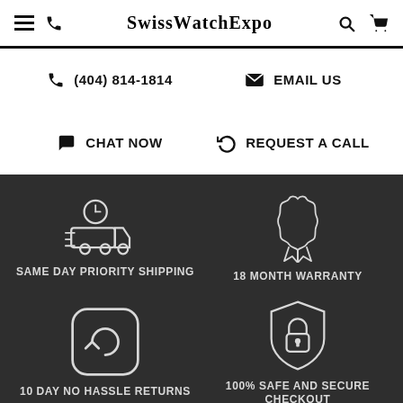SwissWatchExpo
(404) 814-1814
EMAIL US
CHAT NOW
REQUEST A CALL
[Figure (illustration): Delivery truck with clock icon - same day priority shipping]
SAME DAY PRIORITY SHIPPING
[Figure (illustration): Award ribbon/badge icon - 18 month warranty]
18 MONTH WARRANTY
[Figure (illustration): Refresh/return arrow in rounded square icon - 10 day no hassle returns]
10 DAY NO HASSLE RETURNS
[Figure (illustration): Shield with lock icon - 100% safe and secure checkout]
100% SAFE AND SECURE CHECKOUT